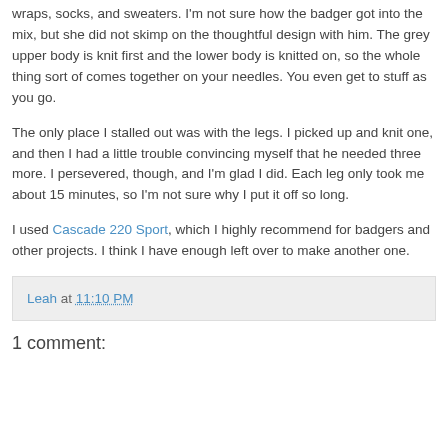wraps, socks, and sweaters.  I'm not sure how the badger got into the mix, but she did not skimp on the thoughtful design with him.  The grey upper body is knit first and the lower body is knitted on, so the whole thing sort of comes together on your needles.  You even get to stuff as you go.
The only place I stalled out was with the legs.  I picked up and knit one, and then I had a little trouble convincing myself that he needed three more.  I persevered, though, and I'm glad I did.  Each leg only took me about 15 minutes, so I'm not sure why I put it off so long.
I used Cascade 220 Sport, which I highly recommend for badgers and other projects.  I think I have enough left over to make another one.
Leah at 11:10 PM
1 comment: